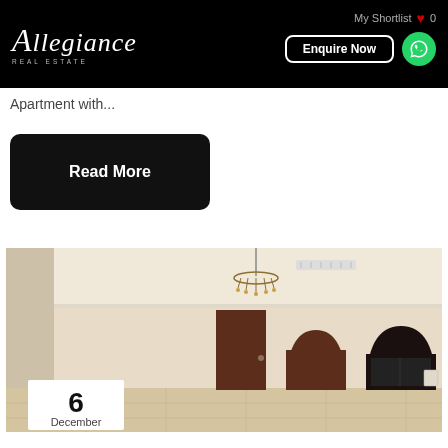Allegiance Real Estate — My Shortlist 0 — Enquire Now
Apartment with...
Read More
[Figure (photo): Interior of an unfurnished apartment room with cream walls, dark wood arched doorways, a chandelier, and tiled floor. A date badge shows '6 December' in the lower left corner.]